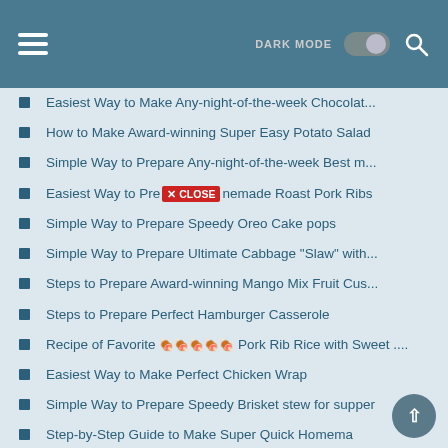DARK MODE [toggle] [search]
Easiest Way to Make Any-night-of-the-week Chocolat...
How to Make Award-winning Super Easy Potato Salad
Simple Way to Prepare Any-night-of-the-week Best m...
Easiest Way to Pre [X CLOSE] nemade Roast Pork Ribs
Simple Way to Prepare Speedy Oreo Cake pops
Simple Way to Prepare Ultimate Cabbage "Slaw" with...
Steps to Prepare Award-winning Mango Mix Fruit Cus...
Steps to Prepare Perfect Hamburger Casserole
Recipe of Favorite 🍖🍖🍖🍖🍖 Pork Rib Rice with Sweet ....
Easiest Way to Make Perfect Chicken Wrap
Simple Way to Prepare Speedy Brisket stew for supper
Step-by-Step Guide to Make Super Quick Homemade Ba...